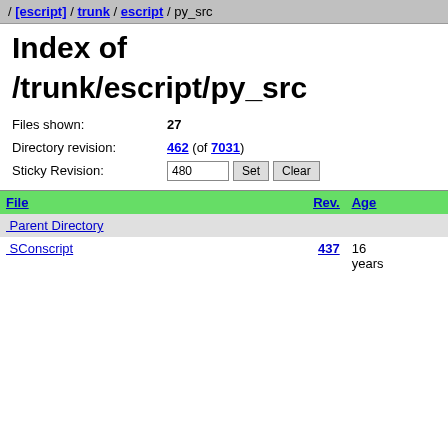/ [escript] / trunk / escript / py_src
Index of /trunk/escript/py_src
Files shown: 27
Directory revision: 462 (of 7031)
Sticky Revision: 480
| File | Rev. | Age |
| --- | --- | --- |
| Parent Directory |  |  |
| SConscript | 437 | 16 years |